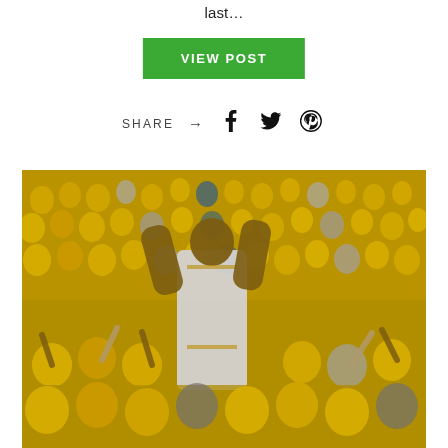last…
VIEW POST
SHARE → (Facebook, Twitter, Pinterest icons)
[Figure (photo): Basketball player in Golden State Warriors white uniform celebrating with arms raised, surrounded by cheering crowd in yellow t-shirts at an NBA game]